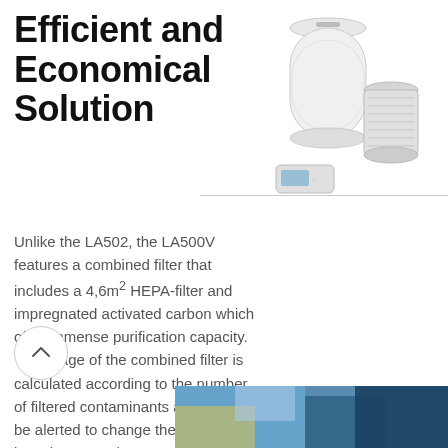Efficient and Economical Solution
[Figure (photo): Air purifier device (tall cylindrical white unit), a cylindrical replacement filter, and a small rectangular air quality sensor/monitor]
Unlike the LA502, the LA500V features a combined filter that includes a 4,6m² HEPA-filter and impregnated activated carbon which offer immense purification capacity. The usage of the combined filter is calculated according to the number of filtered contaminants and you will be alerted to change the filter once it is on low capacity.
[Figure (photo): Partial bottom image showing a colorful blue and yellow scene, possibly a painting or photo]